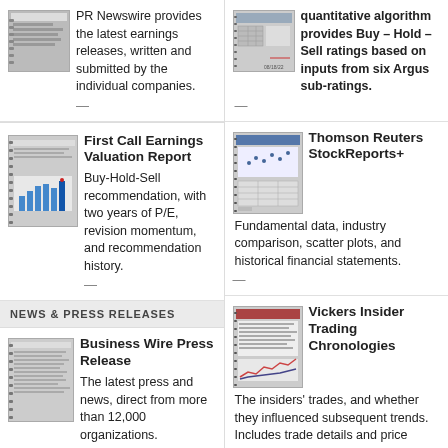[Figure (screenshot): Thumbnail of a financial document page]
PR Newswire provides the latest earnings releases, written and submitted by the individual companies.
[Figure (screenshot): Thumbnail of a stock report with chart and date 08/18/22]
quantitative algorithm provides Buy – Hold – Sell ratings based on inputs from six Argus sub-ratings.
[Figure (screenshot): First Call Earnings Valuation Report thumbnail with bar chart]
First Call Earnings Valuation Report
Buy-Hold-Sell recommendation, with two years of P/E, revision momentum, and recommendation history.
[Figure (screenshot): Thomson Reuters StockReports+ thumbnail]
Thomson Reuters StockReports+
Fundamental data, industry comparison, scatter plots, and historical financial statements.
NEWS & PRESS RELEASES
[Figure (screenshot): Business Wire Press Release thumbnail]
Business Wire Press Release
The latest press and news, direct from more than 12,000 organizations.
[Figure (screenshot): Vickers Insider Trading Chronologies thumbnail with chart]
Vickers Insider Trading Chronologies
The insiders' trades, and whether they influenced subsequent trends. Includes trade details and price chart.